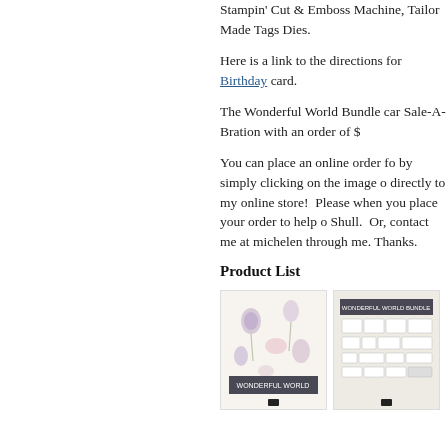Stampin' Cut & Emboss Machine, Tailor Made Tags Dies.
Here is a link to the directions for the Birthday card.
The Wonderful World Bundle can be earned free in Sale-A-Bration with an order of $...
You can place an online order for by simply clicking on the image or directly to my online store! Please when you place your order to help o Shull. Or, contact me at michelen through me. Thanks.
Product List
[Figure (photo): Product image of floral designer series paper or stamp set with floral pattern on cover]
[Figure (photo): Product image of stamp set showing stamps laid out on light beige background]